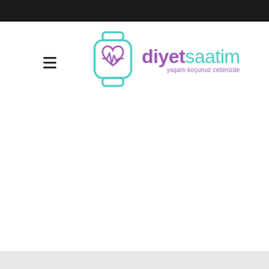[Figure (logo): diyetsaatim logo with smartwatch icon showing a heart rate monitor, text 'diyetsaatim' with 'diyet' in purple and 'saatim' in teal, subtitle 'yaşam koçunuz cebinizde']
≡
yaşam koçunuz cebinizde